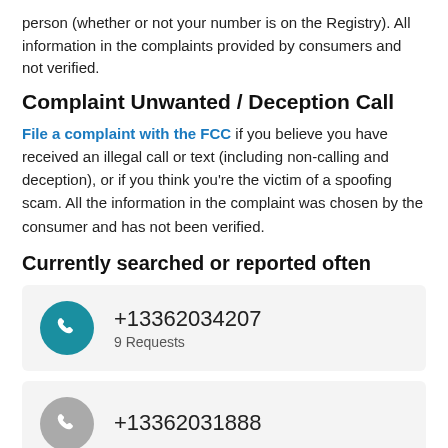person (whether or not your number is on the Registry). All information in the complaints provided by consumers and not verified.
Complaint Unwanted / Deception Call
File a complaint with the FCC if you believe you have received an illegal call or text (including non-calling and deception), or if you think you're the victim of a spoofing scam. All the information in the complaint was chosen by the consumer and has not been verified.
Currently searched or reported often
+13362034207
9 Requests
+13362031888